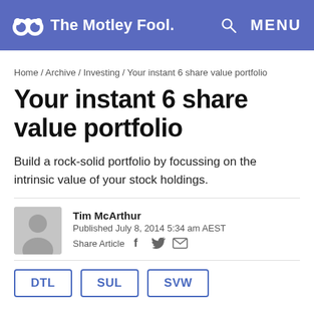The Motley Fool — MENU
Home / Archive / Investing / Your instant 6 share value portfolio
Your instant 6 share value portfolio
Build a rock-solid portfolio by focussing on the intrinsic value of your stock holdings.
Tim McArthur
Published July 8, 2014 5:34 am AEST
Share Article
DTL   SUL   SVW